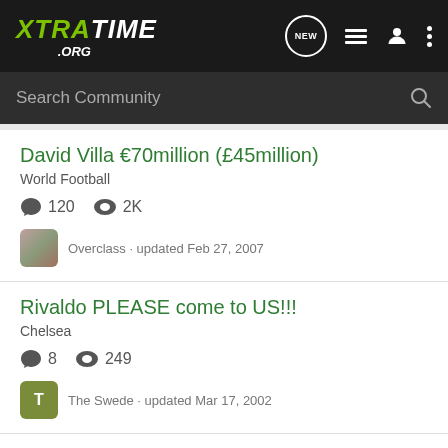XTRATIME .ORG
Search Community
David Villa €70million (£45million)
World Football
120  2K
Overclass · updated Feb 27, 2007
Rivaldo PLEASE come to US!!!
Chelsea
8  249
The Swede · updated Mar 17, 2002
I´m going crazy over here!